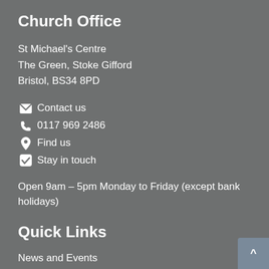Church Office
St Michael's Centre
The Green, Stoke Gifford
Bristol, BS34 8PD
Contact us
0117 969 2486
Find us
Stay in touch
Open 9am – 5pm Monday to Friday (except bank holidays)
Quick Links
News and Events
Calendar
Church Services